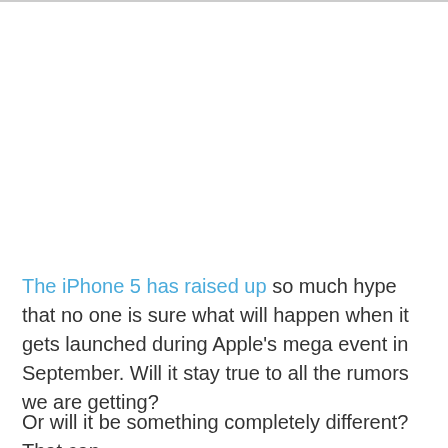The iPhone 5 has raised up so much hype that no one is sure what will happen when it gets launched during Apple's mega event in September. Will it stay true to all the rumors we are getting?
Or will it be something completely different? That can